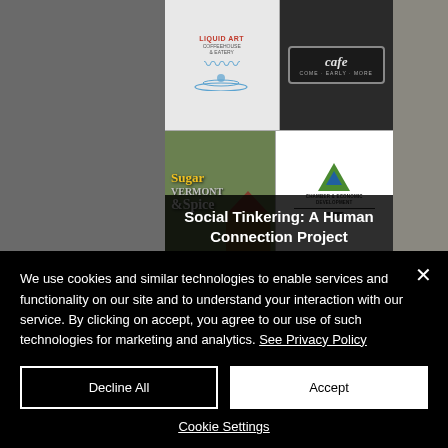[Figure (logo): Liquid Art Coffeehouse & Eatery logo with water droplet design]
[Figure (logo): Cafe logo on dark background with italic text]
[Figure (logo): Sugar & Spice Vermont logo with autumn building photo]
[Figure (logo): Chamber & Economic Development logo with mountain triangle icon]
Social Tinkering: A Human Connection Project
Social Tinkering, Corp
Rutland, VT  05701
We use cookies and similar technologies to enable services and functionality on our site and to understand your interaction with our service. By clicking on accept, you agree to our use of such technologies for marketing and analytics. See Privacy Policy
Decline All
Accept
Cookie Settings